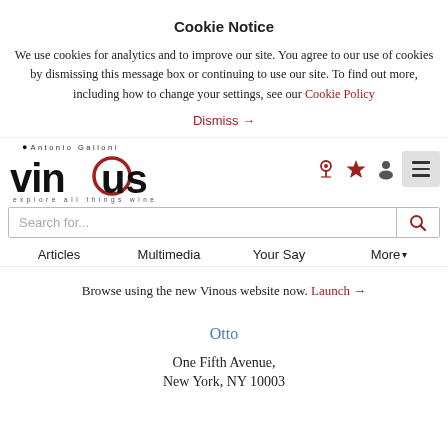Cookie Notice
We use cookies for analytics and to improve our site. You agree to our use of cookies by dismissing this message box or continuing to use our site. To find out more, including how to change your settings, see our Cookie Policy
Dismiss →
[Figure (logo): Vinous — Antonio Galloni logo with tagline 'explore all things wine']
Search for...
Articles   Multimedia   Your Say   More ▾
Browse using the new Vinous website now. Launch →
Otto
One Fifth Avenue,
New York, NY 10003